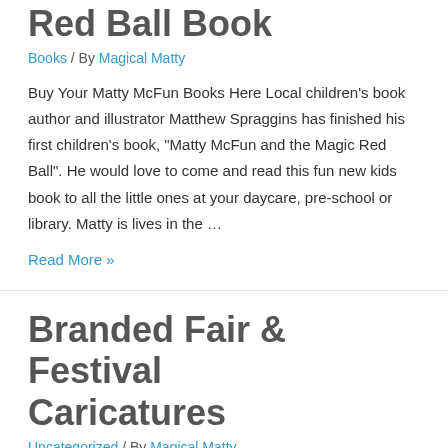Red Ball Book
Books / By Magical Matty
Buy Your Matty McFun Books Here Local children's book author and illustrator Matthew Spraggins has finished his first children's book, “Matty McFun and the Magic Red Ball”. He would love to come and read this fun new kids book to all the little ones at your daycare, pre-school or library. Matty is lives in the …
Read More »
Branded Fair & Festival Caricatures
Uncategorized / By Magical Matty
Branded Logo Fair & Festival Caricatures “The only reason we came to the fair was because we heard there were FREE